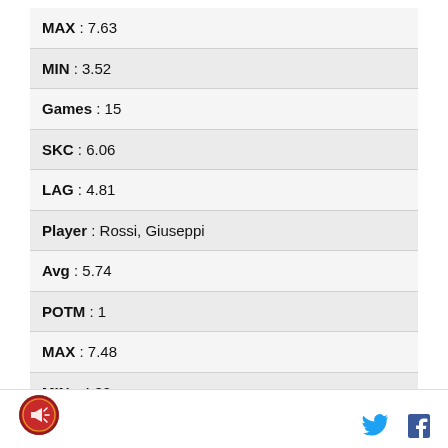| MAX : 7.63 |
| MIN : 3.52 |
| Games : 15 |
| SKC : 6.06 |
| LAG : 4.81 |
| Player : Rossi, Giuseppi |
| Avg : 5.74 |
| POTM : 1 |
| MAX : 7.48 |
| MIN : 4.29 |
| Games : 7 |
[Figure (logo): Round red sports logo with megaphone icon]